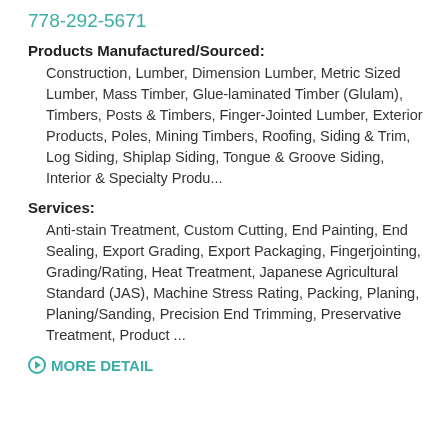778-292-5671
Products Manufactured/Sourced:
Construction, Lumber, Dimension Lumber, Metric Sized Lumber, Mass Timber, Glue-laminated Timber (Glulam), Timbers, Posts & Timbers, Finger-Jointed Lumber, Exterior Products, Poles, Mining Timbers, Roofing, Siding & Trim, Log Siding, Shiplap Siding, Tongue & Groove Siding, Interior & Specialty Produ...
Services:
Anti-stain Treatment, Custom Cutting, End Painting, End Sealing, Export Grading, Export Packaging, Fingerjointing, Grading/Rating, Heat Treatment, Japanese Agricultural Standard (JAS), Machine Stress Rating, Packing, Planing, Planing/Sanding, Precision End Trimming, Preservative Treatment, Product ...
MORE DETAIL